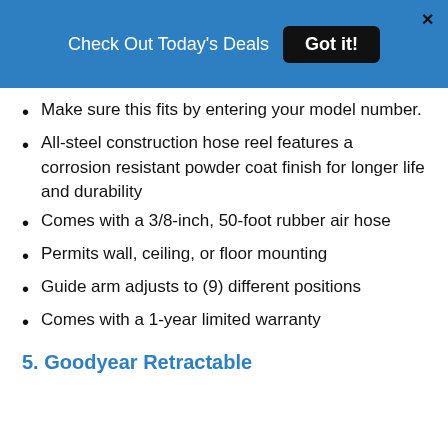Check Out Today's Deals  Got it!
Make sure this fits by entering your model number.
All-steel construction hose reel features a corrosion resistant powder coat finish for longer life and durability
Comes with a 3/8-inch, 50-foot rubber air hose
Permits wall, ceiling, or floor mounting
Guide arm adjusts to (9) different positions
Comes with a 1-year limited warranty
5. Goodyear Retractable